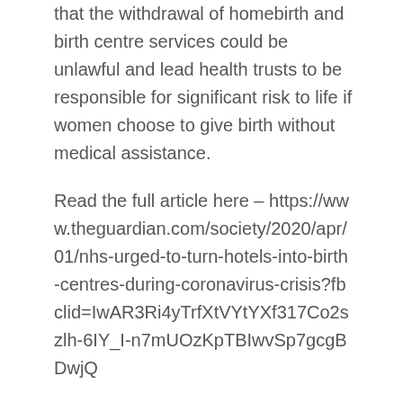that the withdrawal of homebirth and birth centre services could be unlawful and lead health trusts to be responsible for significant risk to life if women choose to give birth without medical assistance.
Read the full article here – https://www.theguardian.com/society/2020/apr/01/nhs-urged-to-turn-hotels-into-birth-centres-during-coronavirus-crisis?fbclid=IwAR3Ri4yTrfXtVYtYXf317Co2szlh-6IY_I-n7mUOzKpTBIwvSp7gcgBDwjQ
This website uses cookies to improve your experience. We'll assume you're ok with this, but you can opt-out if you wish.